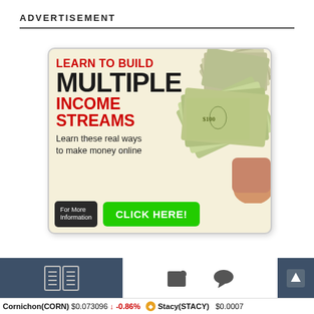ADVERTISEMENT
[Figure (infographic): Advertisement banner: 'Learn to Build Multiple Income Streams - Learn these real ways to make money online' with a green CLICK HERE button and a background of money/cash bills]
[Figure (infographic): Bottom navigation bar with dark blue panel on left with document icon, center white area with tag icon and chat icon, dark blue panel on right with up-arrow icon]
Cornichon(CORN) $0.073096 ↓ -0.86% Stacy(STACY) $0.0007